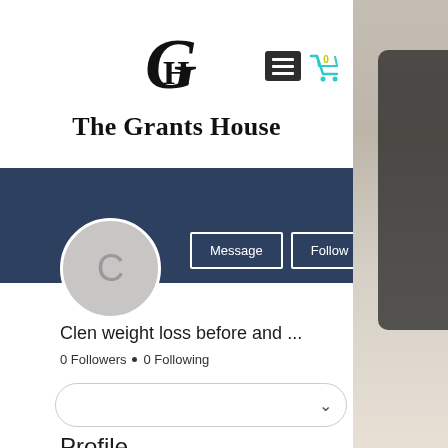[Figure (logo): GH monogram logo for The Grants House with decorative serif lettering]
The Grants House
[Figure (screenshot): Mobile website profile page for The Grants House showing blue header banner, circular avatar with letter C, Message and Follow buttons, user title 'Clen weight loss before and ...', 0 Followers • 0 Following, a filter bar with chevron, and Profile section header]
Clen weight loss before and ...
0 Followers • 0 Following
Profile